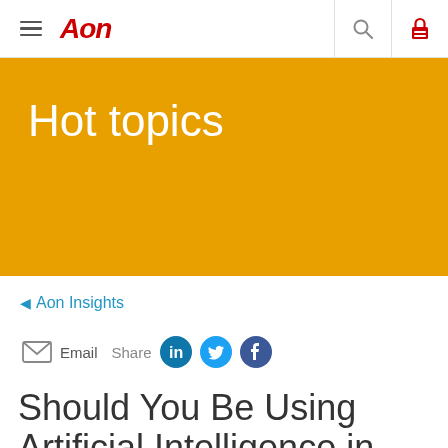Aon [navigation bar with logo, hamburger menu, search, and lock icons]
Hot topics
◄ Aon Insights
Email  Share [LinkedIn] [Twitter] [Facebook]
Should You Be Using Artificial Intelligence in